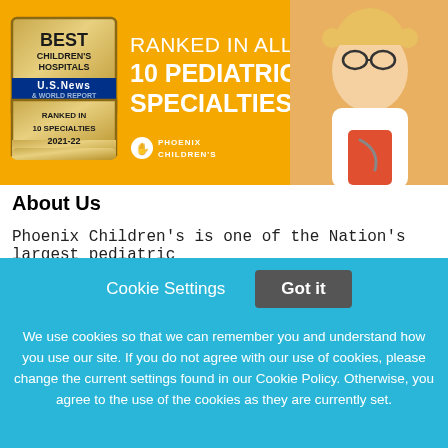[Figure (illustration): Phoenix Children's Hospital advertisement banner on yellow background. Shows 'Best Children's Hospitals' U.S. News badge ranked in 10 specialties 2021-22, headline text 'RANKED IN ALL 10 PEDIATRIC SPECIALTIES.' with Phoenix Children's logo, and a photo of a young girl dressed as a doctor with glasses and a stethoscope.]
About Us
Phoenix Children’s is one of the Nation’s largest pediatric
Cookie Settings   Got it
We use cookies so that we can remember you and understand how you use our site. If you do not agree with our use of cookies, please change the current settings found in our Cookie Policy. Otherwise, you agree to the use of the cookies as they are currently set.